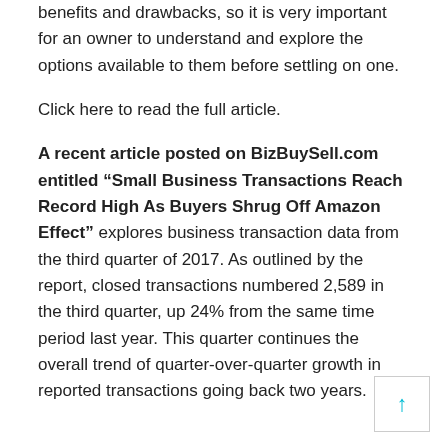benefits and drawbacks, so it is very important for an owner to understand and explore the options available to them before settling on one.
Click here to read the full article.
A recent article posted on BizBuySell.com entitled “Small Business Transactions Reach Record High As Buyers Shrug Off Amazon Effect” explores business transaction data from the third quarter of 2017. As outlined by the report, closed transactions numbered 2,589 in the third quarter, up 24% from the same time period last year. This quarter continues the overall trend of quarter-over-quarter growth in reported transactions going back two years.